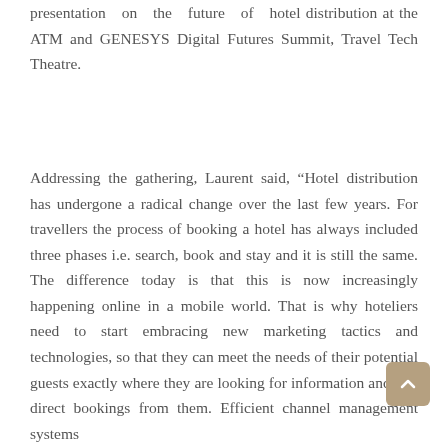presentation on the future of hotel distribution at the ATM and GENESYS Digital Futures Summit, Travel Tech Theatre.
Addressing the gathering, Laurent said, “Hotel distribution has undergone a radical change over the last few years. For travellers the process of booking a hotel has always included three phases i.e. search, book and stay and it is still the same. The difference today is that this is now increasingly happening online in a mobile world. That is why hoteliers need to start embracing new marketing tactics and technologies, so that they can meet the needs of their potential guests exactly where they are looking for information and win direct bookings from them. Efficient channel management systems